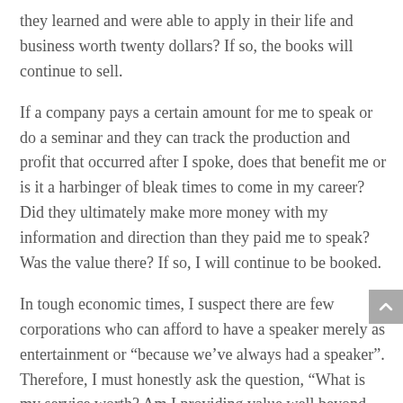they learned and were able to apply in their life and business worth twenty dollars? If so, the books will continue to sell.
If a company pays a certain amount for me to speak or do a seminar and they can track the production and profit that occurred after I spoke, does that benefit me or is it a harbinger of bleak times to come in my career? Did they ultimately make more money with my information and direction than they paid me to speak? Was the value there? If so, I will continue to be booked.
In tough economic times, I suspect there are few corporations who can afford to have a speaker merely as entertainment or “because we’ve always had a speaker”. Therefore, I must honestly ask the question, “What is my service worth? Am I providing value well beyond cost?”